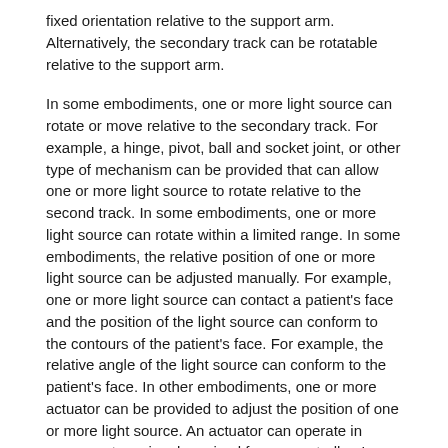fixed orientation relative to the support arm. Alternatively, the secondary track can be rotatable relative to the support arm.
In some embodiments, one or more light source can rotate or move relative to the secondary track. For example, a hinge, pivot, ball and socket joint, or other type of mechanism can be provided that can allow one or more light source to rotate relative to the second track. In some embodiments, one or more light source can rotate within a limited range. In some embodiments, the relative position of one or more light source can be adjusted manually. For example, one or more light source can contact a patient's face and the position of the light source can conform to the contours of the patient's face. For example, the relative angle of the light source can conform to the patient's face. In other embodiments, one or more actuator can be provided to adjust the position of one or more light source. An actuator can operate in response to a signal received from a controller. In some embodiments, the position of one or more light source can be locked so that once a desired configuration for the light source has been set, it is not be adjusted manually. Alternatively, one or more light